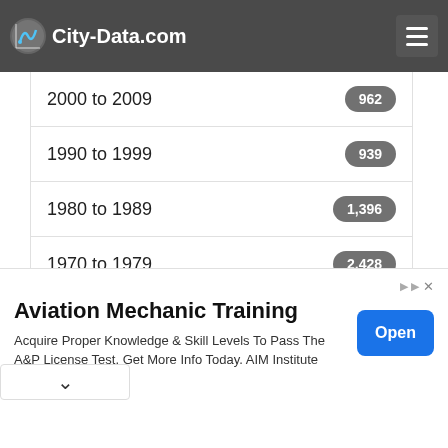City-Data.com
2000 to 2009 — 962
1990 to 1999 — 939
1980 to 1989 — 1,396
1970 to 1979 — 2,428
1960 to 1969 — 634
1950 to 1959 — 572
1940 to 1949 — 66
Aviation Mechanic Training — Acquire Proper Knowledge & Skill Levels To Pass The A&P License Test. Get More Info Today. AIM Institute